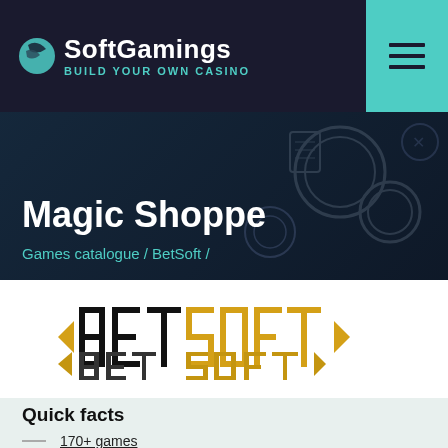SoftGamings BUILD YOUR OWN CASINO
Magic Shoppe
Games catalogue / BetSoft /
[Figure (logo): BetSoft logo — black angular text 'BET' and 'BET' with golden/yellow 'SOFT' text and arrow decorations on left and right]
Quick facts
170+ games
Various bonus rounds